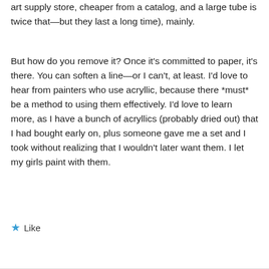art supply store, cheaper from a catalog, and a large tube is twice that—but they last a long time), mainly.
But how do you remove it? Once it's committed to paper, it's there. You can soften a line—or I can't, at least. I'd love to hear from painters who use acryllic, because there *must* be a method to using them effectively. I'd love to learn more, as I have a bunch of acryllics (probably dried out) that I had bought early on, plus someone gave me a set and I took without realizing that I wouldn't later want them. I let my girls paint with them.
★ Like